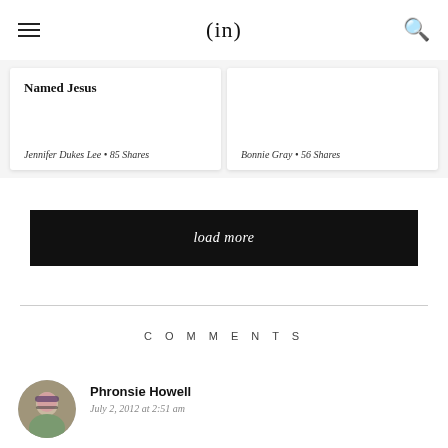(in)
Named Jesus
Jennifer Dukes Lee • 85 Shares
Bonnie Gray • 56 Shares
load more
COMMENTS
Phronsie Howell
July 2, 2012 at 2:51 am